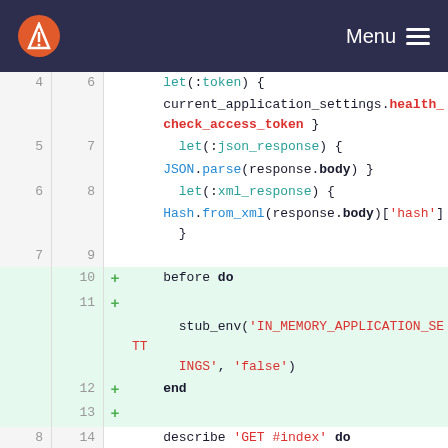Menu
[Figure (screenshot): Code diff view showing Ruby code with line numbers (old and new), added lines highlighted in green, with syntax highlighting. Lines 4-10 (old) / 6-16 (new) shown.]